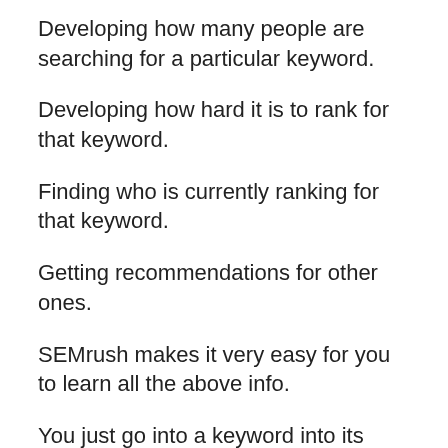Developing how many people are searching for a particular keyword.
Developing how hard it is to rank for that keyword.
Finding who is currently ranking for that keyword.
Getting recommendations for other ones.
SEMrush makes it very easy for you to learn all the above info.
You just go into a keyword into its ‘Keyword Overview’ tool and you’ll immediately see.
the number of searches monthly for that